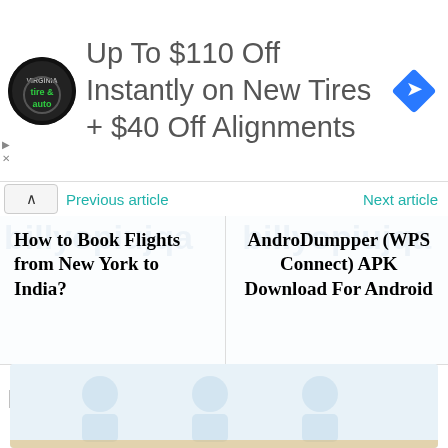[Figure (screenshot): Advertisement banner for tire and auto service: circular logo with tire and auto text, ad reads 'Up To $110 Off Instantly on New Tires + $40 Off Alignments', blue diamond navigation icon on right]
Previous article
Next article
How to Book Flights from New York to India?
AndroDumpper (WPS Connect) APK Download For Android
Related Articles
[Figure (photo): Partial image for a related article, light blue placeholder with faded icons]